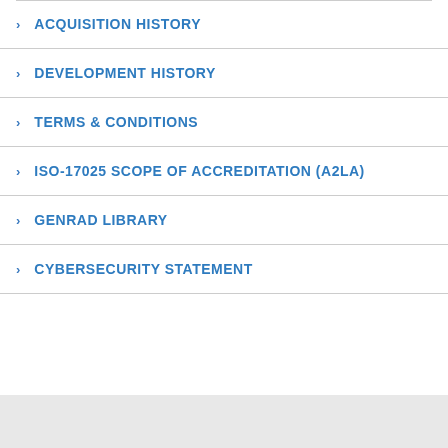ACQUISITION HISTORY
DEVELOPMENT HISTORY
TERMS & CONDITIONS
ISO-17025 SCOPE OF ACCREDITATION (A2LA)
GENRAD LIBRARY
CYBERSECURITY STATEMENT